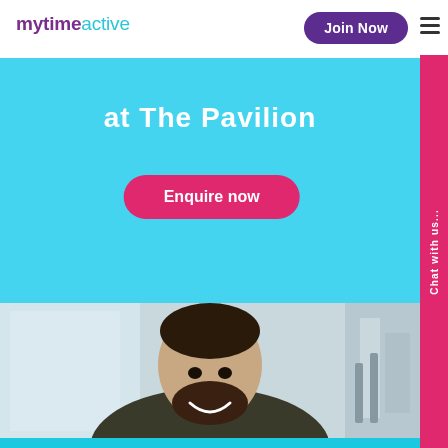[Figure (logo): mytime active logo with purple 'mytime' and cyan 'active']
Join Now
[Figure (screenshot): Website screenshot showing 'at The Pavilion' heading on cyan background with pink 'Enquire now' button, pink side tab reading 'Chat with us...', and a photo of a smiling bearded man in a gym wearing a dark sleeveless shirt]
at The Pavilion
Enquire now
Chat with us...